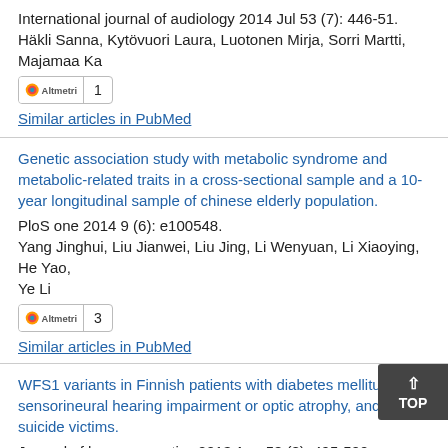International journal of audiology 2014 Jul 53 (7): 446-51. Häkli Sanna, Kytövuori Laura, Luotonen Mirja, Sorri Martti, Majamaa Ka
[Figure (other): Altmetric badge showing score of 1]
Similar articles in PubMed
Genetic association study with metabolic syndrome and metabolic-related traits in a cross-sectional sample and a 10-year longitudinal sample of chinese elderly population.
PloS one 2014 9 (6): e100548. Yang Jinghui, Liu Jianwei, Liu Jing, Li Wenyuan, Li Xiaoying, He Yao, Ye Li
[Figure (other): Altmetric badge showing score of 3]
Similar articles in PubMed
WFS1 variants in Finnish patients with diabetes mellitus, sensorineural hearing impairment or optic atrophy, and in suicide victims.
Journal of human genetics 2013 Aug 58 (8): 495-500. Kytövuori Laura, Seppänen Allan, Martikainen Mika H, Moilanen Jukka S, Kamppari Seija, Särkioja Terttu, Remes Anne M, Räisänen Pirkko, Rönnemaa Tapani, Majamaa Ka
[Figure (other): Altmetric badge (partial, score not visible)]